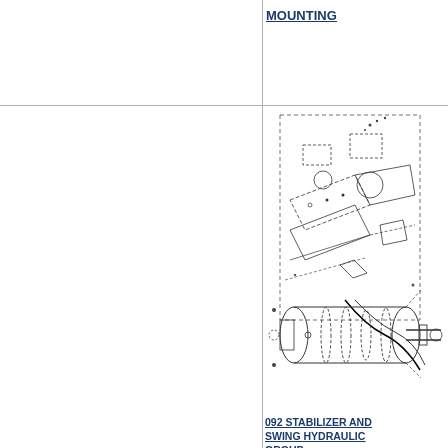MOUNTING
STICK GROUP
[Figure (engineering-diagram): Exploded engineering diagram of stabilizer and swing hydraulic group components with hoses and fittings]
092 STABILIZER AND SWING HYDRAULIC GROUP
093 MA... MAST A... STABIL...
[Figure (engineering-diagram): Exploded engineering diagram of a hydraulic cylinder assembly with seals and end caps]
[Figure (engineering-diagram): Partial view of hydraulic cylinder assembly (right column, cropped)]